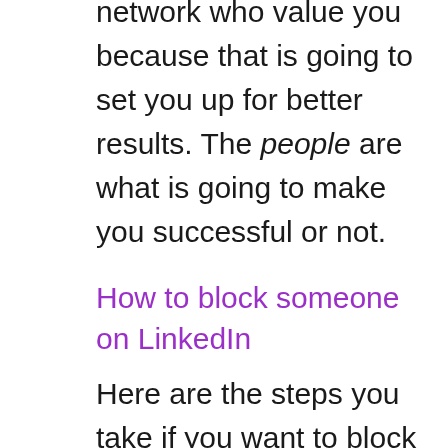network who value you because that is going to set you up for better results. The people are what is going to make you successful or not.
How to block someone on LinkedIn
Here are the steps you take if you want to block a loser out of your life on LinkedIn.